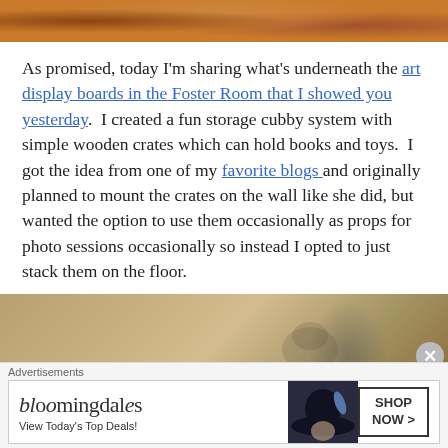[Figure (photo): Top edge of a photo showing an animal with orange/brown fur against a light background]
As promised, today I'm sharing what's underneath the art display boards in the Foster Room that I showed you yesterday.  I created a fun storage cubby system with simple wooden crates which can hold books and toys.  I got the idea from one of my favorite blogs and originally planned to mount the crates on the wall like she did, but wanted the option to use them occasionally as props for photo sessions occasionally so instead I opted to just stack them on the floor.
[Figure (photo): Bottom portion of a photo showing a beige/tan background with a partial figure wearing a dark hat]
Advertisements
[Figure (photo): Bloomingdale's advertisement banner with logo, 'View Today's Top Deals!' tagline, image of a woman in a large dark hat, and 'SHOP NOW >' button]